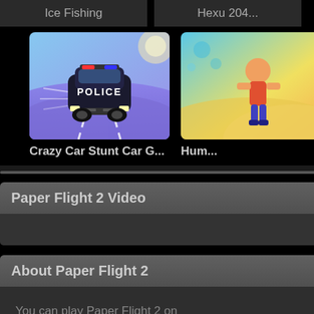Ice Fishing
Hexu 204...
[Figure (screenshot): Crazy Car Stunt Car game thumbnail showing a police car on a purple road track]
[Figure (screenshot): Hum... game thumbnail showing a colorful character on a bright background]
Crazy Car Stunt Car G...
Hum...
Paper Flight 2 Video
About Paper Flight 2
You can play Paper Flight 2 on everyday. if you like Paper Flig... Flight, Toilet Paper The Game...